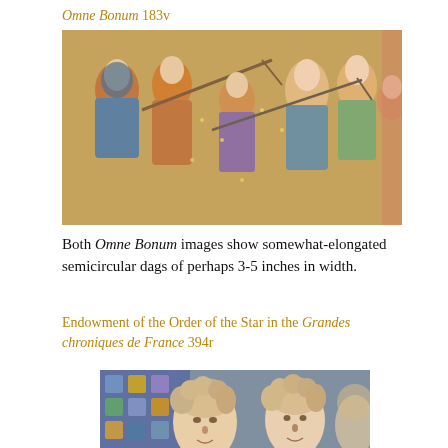Omne Bonum 183v
[Figure (photo): Medieval illuminated manuscript image from Omne Bonum 183v, showing figures in colorful robes with elongated semicircular dags, holding tools or weapons on a gold-starred background]
Both Omne Bonum images show somewhat-elongated semicircular dags of perhaps 3-5 inches in width.
Endowment of the Order of the Star in the Grandes chroniques de France 394r
[Figure (photo): Medieval illuminated manuscript image from Grandes chroniques de France 394r, showing faces of figures with curly light hair against a decorative patterned background]